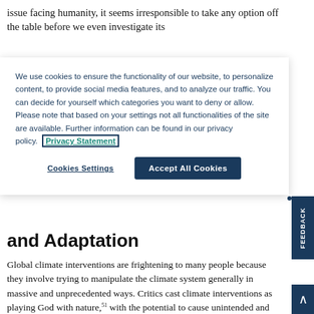issue facing humanity, it seems irresponsible to take any option off the table before we even investigate its
We use cookies to ensure the functionality of our website, to personalize content, to provide social media features, and to analyze our traffic. You can decide for yourself which categories you want to deny or allow. Please note that based on your settings not all functionalities of the site are available. Further information can be found in our privacy policy. Privacy Statement
Cookies Settings
Accept All Cookies
and Adaptation
Global climate interventions are frightening to many people because they involve trying to manipulate the climate system generally in massive and unprecedented ways. Critics cast climate interventions as playing God with nature,⁵¹ with the potential to cause unintended and possibly catastrophic